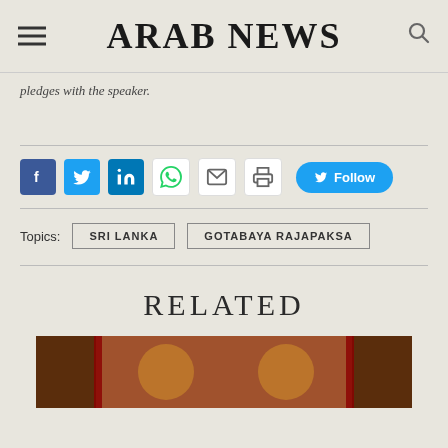ARAB NEWS
pledges with the speaker.
[Figure (infographic): Social media sharing buttons: Facebook, Twitter, LinkedIn, WhatsApp, Email, Print; and a Twitter Follow button]
Topics: SRI LANKA   GOTABAYA RAJAPAKSA
RELATED
[Figure (photo): Photo of a formal meeting room with Sri Lanka flags and ornate furniture]